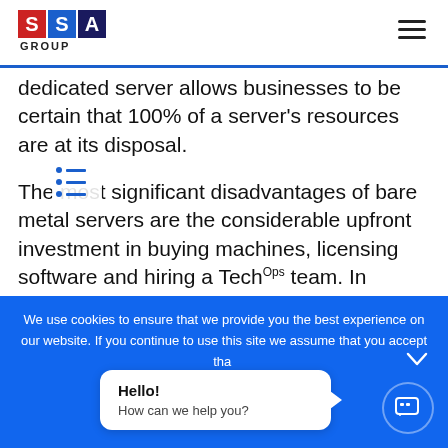SSA GROUP
dedicated server allows businesses to be certain that 100% of a server's resources are at its disposal.
The most significant disadvantages of bare metal servers are the considerable upfront investment in buying machines, licensing software and hiring a TechOps team. In addition, dedicated infrastructure lacks flexibility and scalability. To scale bare metal resources means buying and deploying new servers,
We use cookies to ensure that we provide you the best experience on our website. If you continue to use this site we assume that you accept that
Hello!
How can we help you?